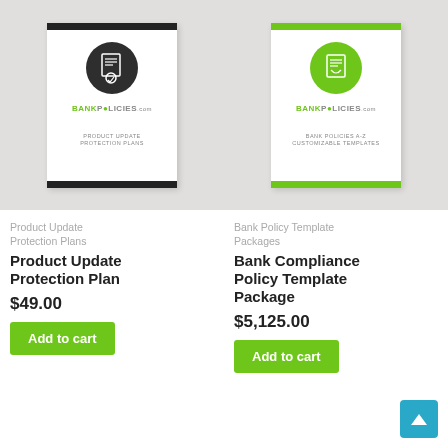[Figure (illustration): Product thumbnail card for Product Update Protection Plans. White card with dark top/bottom bars, black circle icon with document/badge inside, BANKPOLICIES.com logo, text: PRODUCT UPDATE PROTECTION PLANS]
Product Update Protection Plans
Product Update Protection Plan
$49.00
Add to cart
[Figure (illustration): Product thumbnail card for Bank Policies A-Z Customizable Templates. White card with green top/bottom bars, green circle icon with document inside, BANKPOLICIES.com logo, text: BANK POLICIES A-Z CUSTOMIZABLE TEMPLATES]
Bank Policy Template Packages
Bank Compliance Policy Template Package
$5,125.00
Add to cart